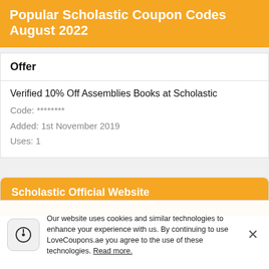Popular Scholastic Coupon Codes August 2022
| Offer |
| --- |
| Verified 10% Off Assemblies Books at Scholastic
Code: ********
Added: 1st November 2019
Uses: 1 |
Scholastic Official Website
https://shop.scholastic.co.uk/
Our website uses cookies and similar technologies to enhance your experience with us. By continuing to use LoveCoupons.ae you agree to the use of these technologies. Read more.